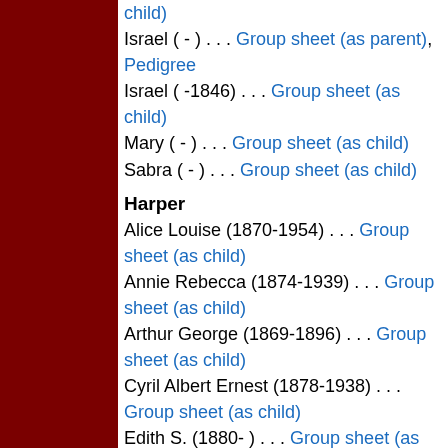child)
Israel ( - ) . . . Group sheet (as parent), Pedigree
Israel ( -1846) . . . Group sheet (as child)
Mary ( - ) . . . Group sheet (as child)
Sabra ( - ) . . . Group sheet (as child)
Harper
Alice Louise (1870-1954) . . . Group sheet (as child)
Annie Rebecca (1874-1939) . . . Group sheet (as child)
Arthur George (1869-1896) . . . Group sheet (as child)
Cyril Albert Ernest (1878-1938) . . . Group sheet (as child)
Edith S. (1880- ) . . . Group sheet (as child)
Elizabeth V. (1872-1947) . . . Group sheet (as child), Group sheet (as parent), Pedigree